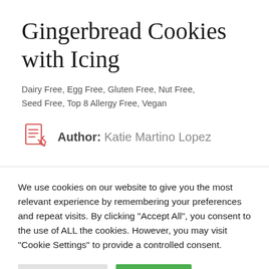Gingerbread Cookies with Icing
Dairy Free, Egg Free, Gluten Free, Nut Free, Seed Free, Top 8 Allergy Free, Vegan
Author: Katie Martino Lopez
We use cookies on our website to give you the most relevant experience by remembering your preferences and repeat visits. By clicking "Accept All", you consent to the use of ALL the cookies. However, you may visit "Cookie Settings" to provide a controlled consent.